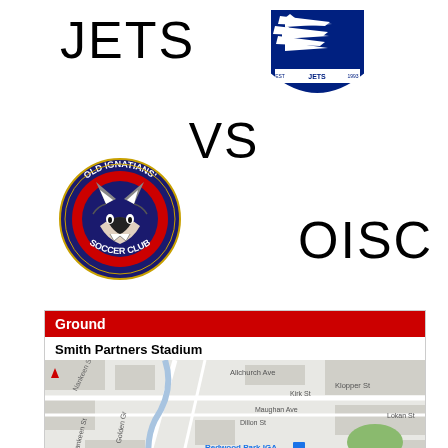JETS
[Figure (logo): Jets soccer club crest with jets/aircraft and blue shield, EST 1993]
VS
[Figure (logo): Old Ignatians Soccer Club circular logo with wolf head on red and blue background]
OISC
Ground
Smith Partners Stadium
[Figure (map): Google Maps showing Smith Partners Stadium area with streets including Allchurch Ave, Nankeen St, Golden Gr, Maughan Ave, Kirk St, Klopper St, Dillon St, Lokan St, and Redwood Park IGA location marker]